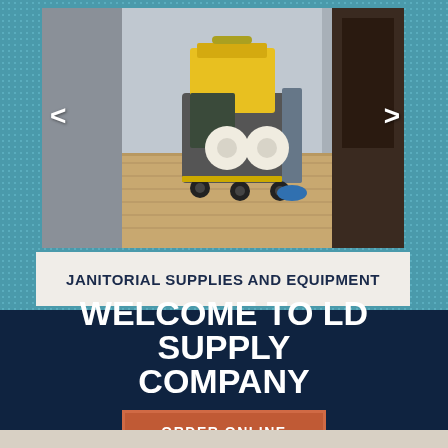[Figure (photo): Janitorial cart with yellow mop bucket and toilet paper rolls on a wooden floor hallway]
JANITORIAL SUPPLIES AND EQUIPMENT
WELCOME TO LD SUPPLY COMPANY
ORDER ONLINE